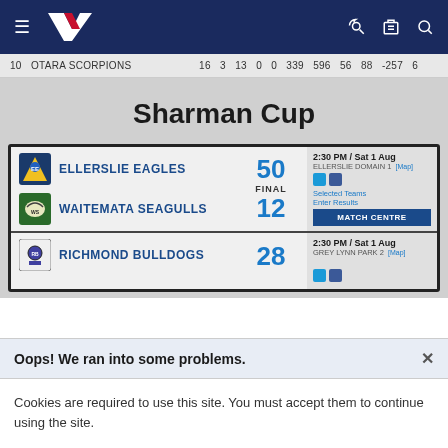NZ Rugby League navigation bar
10  OTARA SCORPIONS  16  3  13  0  0  339  596  56  88  -257  6
Sharman Cup
| Team | Score | Details |
| --- | --- | --- |
| ELLERSLIE EAGLES | 50 | 2:30 PM / Sat 1 Aug | ELLERSLIE DOMAIN 1 [Map] |
| WAITEMATA SEAGULLS | 12 FINAL | Selected Teams | Enter Results | MATCH CENTRE |
| RICHMOND BULLDOGS | 28 | 2:30 PM / Sat 1 Aug | GREY LYNN PARK 2 [Map] |
Oops! We ran into some problems.
Cookies are required to use this site. You must accept them to continue using the site.